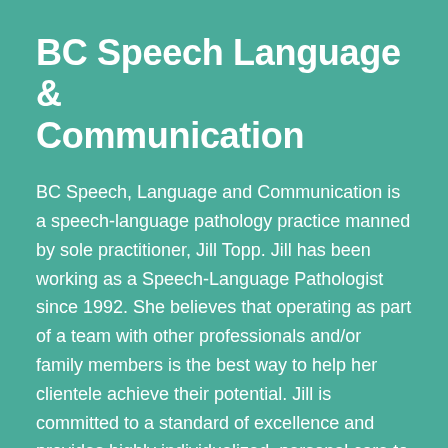BC Speech Language & Communication
BC Speech, Language and Communication is a speech-language pathology practice manned by sole practitioner, Jill Topp. Jill has been working as a Speech-Language Pathologist since 1992. She believes that operating as part of a team with other professionals and/or family members is the best way to help her clientele achieve their potential. Jill is committed to a standard of excellence and provides highly individualized, personal care to each of her clients.
Clientele with the following challenges are seen at BC Speech, Language and Communication: Autism, ...